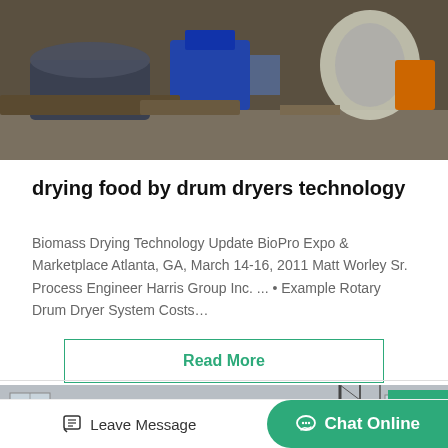[Figure (photo): Industrial machinery / drum dryer equipment in a factory setting, showing metal components and rollers on a concrete floor.]
drying food by drum dryers technology
Biomass Drying Technology Update BioPro Expo & Marketplace Atlanta, GA, March 14-16, 2011 Matt Worley Sr. Process Engineer Harris Group Inc. ... • Example Rotary Drum Dryer System Costs…
Read More
[Figure (photo): Large rotary drum dryer equipment photographed outside an industrial facility, black and white tones, utility poles visible in background.]
Leave Message
Chat Online